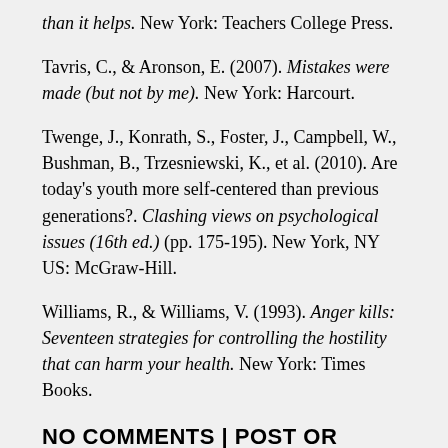than it helps. New York: Teachers College Press.
Tavris, C., & Aronson, E. (2007). Mistakes were made (but not by me). New York: Harcourt.
Twenge, J., Konrath, S., Foster, J., Campbell, W., Bushman, B., Trzesniewski, K., et al. (2010). Are today's youth more self-centered than previous generations?. Clashing views on psychological issues (16th ed.) (pp. 175-195). New York, NY US: McGraw-Hill.
Williams, R., & Williams, V. (1993). Anger kills: Seventeen strategies for controlling the hostility that can harm your health. New York: Times Books.
NO COMMENTS | POST OR